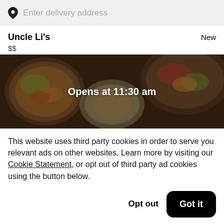Enter delivery address
Uncle Li's
$$
New
[Figure (photo): Food delivery app restaurant header image showing bowls of Asian food with text overlay 'Opens at 11:30 am']
This website uses third party cookies in order to serve you relevant ads on other websites. Learn more by visiting our Cookie Statement, or opt out of third party ad cookies using the button below.
Opt out
Got it